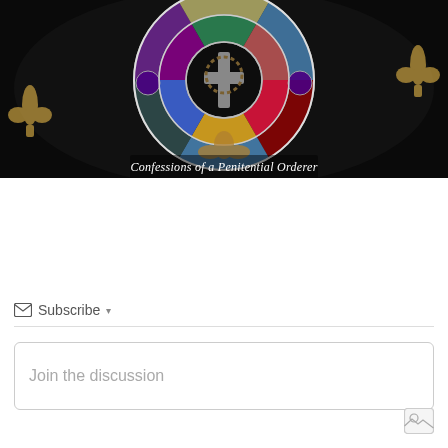[Figure (photo): Stained glass window with colorful circular rose window design featuring cross motif in center, blue, purple, red, gold colors on dark background. Text overlay reads 'Confessions of a Penitential Orderer'.]
Confessions of a Penitential Orderer
Subscribe ▾
Join the discussion